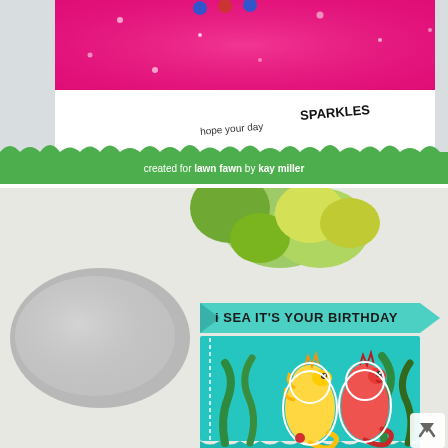[Figure (photo): A handmade greeting card with hot pink glitter background. Text reads 'HOPE YOUR DAY SPARKLES' in stamped lettering. A green grass border strip at the bottom reads 'created for lawn fawn by kay miller' in white text.]
[Figure (photo): A handmade birthday card featuring a teal pop-up box scene with two cute seahorse characters (one yellow, one pink/red) surrounded by green seaweed. A teal banner reads 'I SEA IT'S YOUR BIRTHDAY'. The card is photographed next to succulents and a gray stone. A small white up-arrow navigation button is visible in the bottom right corner.]